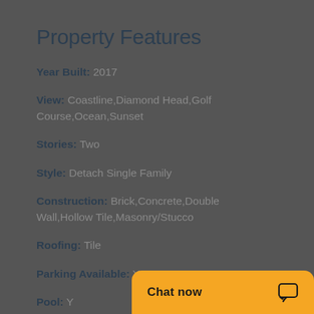Property Features
Year Built: 2017
View: Coastline,Diamond Head,Golf Course,Ocean,Sunset
Stories: Two
Style: Detach Single Family
Construction: Brick,Concrete,Double Wall,Hollow Tile,Masonry/Stucco
Roofing: Tile
Parking Available: Y
Pool: Y
Security: Gated Comm...
Chat now